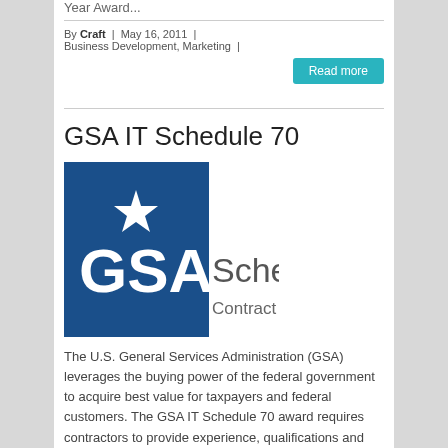Year Award...
By Craft | May 16, 2011 | Business Development, Marketing |
Read more
GSA IT Schedule 70
[Figure (logo): GSA Schedule Contract GS-35F073 logo with blue square containing GSA star emblem on the left and gray text 'Schedule Contract GS-35F073' on the right]
The U.S. General Services Administration (GSA) leverages the buying power of the federal government to acquire best value for taxpayers and federal customers. The GSA IT Schedule 70 award requires contractors to provide experience, qualifications and labor category rates along...